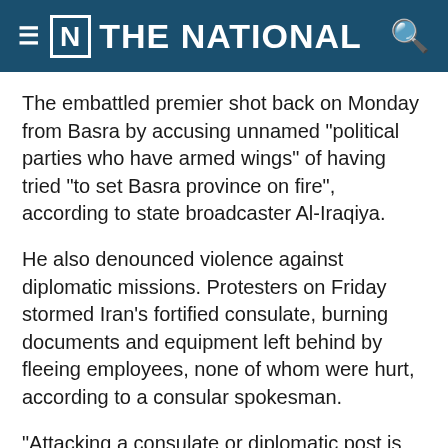THE NATIONAL
The embattled premier shot back on Monday from Basra by accusing unnamed "political parties who have armed wings" of having tried "to set Basra province on fire", according to state broadcaster Al-Iraqiya.
He also denounced violence against diplomatic missions. Protesters on Friday stormed Iran's fortified consulate, burning documents and equipment left behind by fleeing employees, none of whom were hurt, according to a consular spokesman.
"Attacking a consulate or diplomatic post is unacceptable," Mr Abadi was quoted as saying